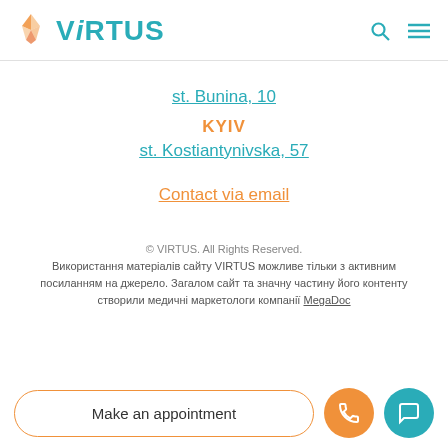VIRTUS
st. Bunina, 10
KYIV
st. Kostiantynivska, 57
Contact via email
© VIRTUS. All Rights Reserved. Використання матеріалів сайту VIRTUS можливе тільки з активним посиланням на джерело. Загалом сайт та значну частину його контенту створили медичні маркетологи компанії MegaDoc
Make an appointment